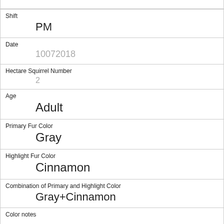| Shift | PM |
| Date | 10072018 |
| Hectare Squirrel Number | 2 |
| Age | Adult |
| Primary Fur Color | Gray |
| Highlight Fur Color | Cinnamon |
| Combination of Primary and Highlight Color | Gray+Cinnamon |
| Color notes |  |
| Location | Above Ground |
| Above Ground Sighter Measurement | 10 |